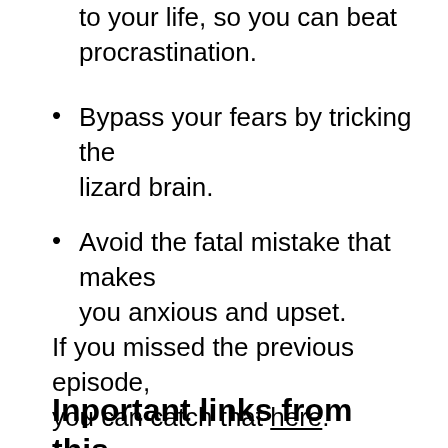to your life, so you can beat procrastination.
Bypass your fears by tricking the lizard brain.
Avoid the fatal mistake that makes you anxious and upset.
If you missed the previous episode, you can catch that here.
Inportant links from this episode